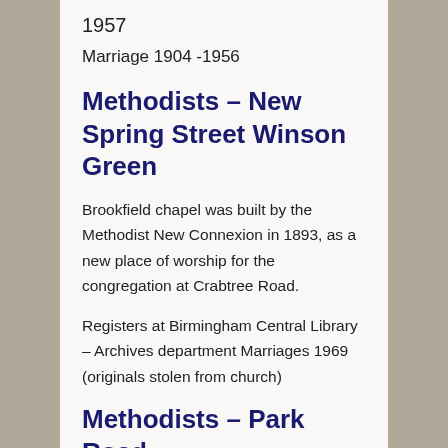1957
Marriage 1904 -1956
Methodists – New Spring Street Winson  Green
Brookfield chapel was built by the Methodist New Connexion in 1893, as a new place of worship for the congregation at Crabtree Road.
Registers at Birmingham Central Library – Archives department Marriages 1969 (originals stolen from church)
Methodists – Park Road